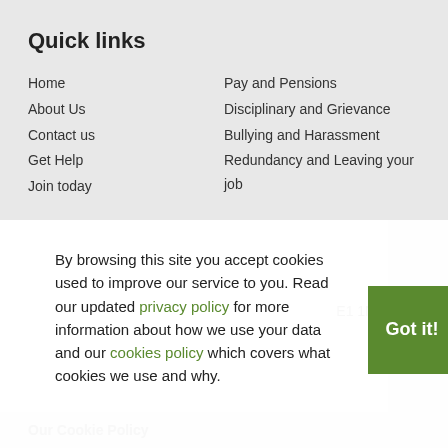Quick links
Home
About Us
Contact us
Get Help
Join today
Pay and Pensions
Disciplinary and Grievance
Bullying and Harassment
Redundancy and Leaving your job
By browsing this site you accept cookies used to improve our service to you. Read our updated privacy policy for more information about how we use your data and our cookies policy which covers what cookies we use and why.
Our Cookie Policy